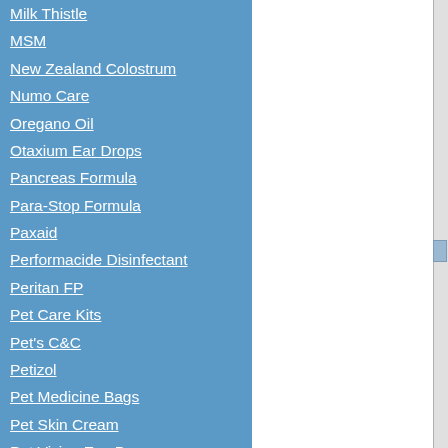Milk Thistle
MSM
New Zealand Colostrum
Numo Care
Oregano Oil
Otaxium Ear Drops
Pancreas Formula
Para-Stop Formula
Paxaid
Performacide Disinfectant
Peritan FP
Pet Care Kits
Pet's C&C
Petizol
Pet Medicine Bags
Pet Skin Cream
Pet Vision Eye Drops
ProTummy